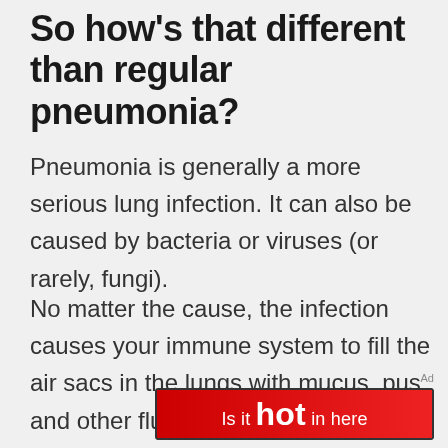So how's that different than regular pneumonia?
Pneumonia is generally a more serious lung infection. It can also be caused by bacteria or viruses (or rarely, fungi).
No matter the cause, the infection causes your immune system to fill the air sacs in the lungs with mucus, pus, and other fluids. This makes it difficult for oxygen to reach your blood.
[Figure (other): Red advertisement banner reading 'Is it hot in here']